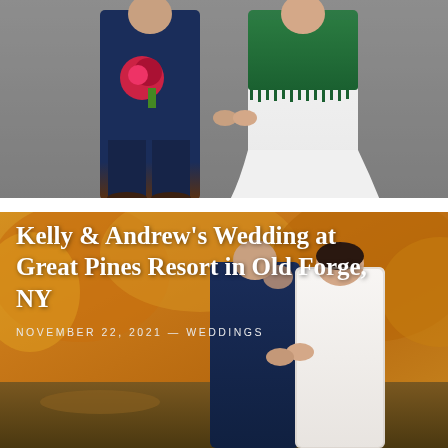[Figure (photo): Wedding couple walking hand-in-hand on a street. Groom in navy blue suit holding red bouquet, bride in white dress with green fringed shawl.]
[Figure (photo): Couple embracing in front of vivid autumn foliage in orange and gold. Groom in navy suit kissing bride in white lace long-sleeve dress. Text overlay with wedding title and date.]
Kelly & Andrew's Wedding at Great Pines Resort in Old Forge, NY
NOVEMBER 22, 2021 — WEDDINGS